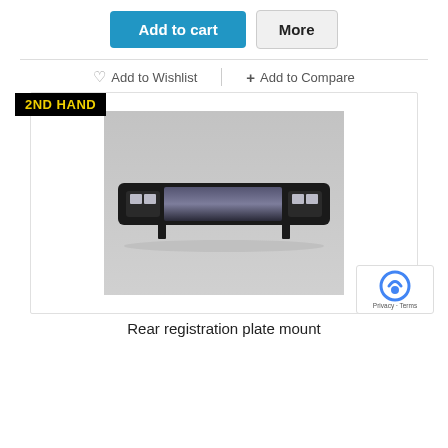Add to cart | More
Add to Wishlist   + Add to Compare
[Figure (photo): Product listing page showing a rear registration plate mount (2nd hand auto part) - a black elongated bracket with two small lights, photographed on a grey floor. Includes '2ND HAND' badge, Add to Cart and More buttons, Add to Wishlist and Add to Compare links, and reCAPTCHA badge.]
Rear registration plate mount